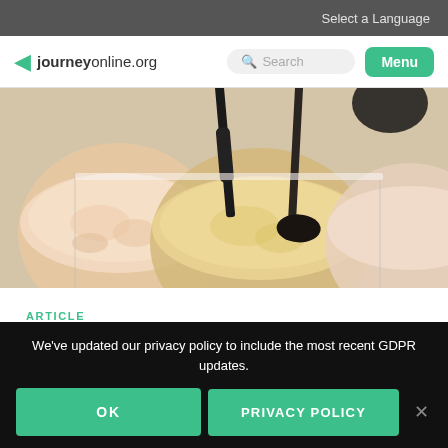Select a Language
journeyonline.org  Search  Menu
[Figure (photo): Overhead view of open cosmetic powder jars with makeup brushes on a white background]
ARTICLE
Beauty Secrets
We've updated our privacy policy to include the most recent GDPR updates.
OK   PRIVACY POLICY